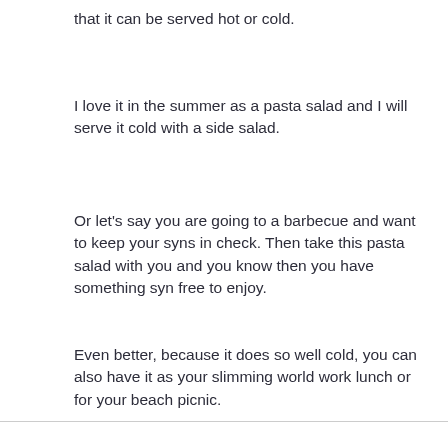that it can be served hot or cold.
I love it in the summer as a pasta salad and I will serve it cold with a side salad.
Or let’s say you are going to a barbecue and want to keep your syns in check. Then take this pasta salad with you and you know then you have something syn free to enjoy.
Even better, because it does so well cold, you can also have it as your slimming world work lunch or for your beach picnic.